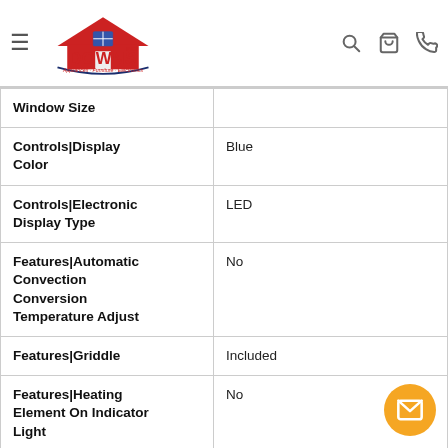Downs Inc. — Appliances · Furniture · Electronics
| Attribute | Value |
| --- | --- |
| Window Size |  |
| Controls|Display Color | Blue |
| Controls|Electronic Display Type | LED |
| Features|Automatic Convection Conversion Temperature Adjust | No |
| Features|Griddle | Included |
| Features|Heating Element On Indicator Light | No |
| Features|Hot Surface Indicator Light | No |